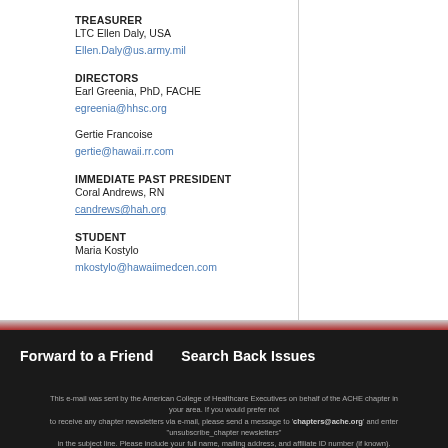TREASURER
LTC Ellen Daly, USA
Ellen.Daly@us.army.mil
DIRECTORS
Earl Greenia, PhD, FACHE
egreenia@hhsc.org
Gertie Francoise
gertie@hawaii.rr.com
IMMEDIATE PAST PRESIDENT
Coral Andrews, RN
candrews@hah.org
STUDENT
Maria Kostylo
mkostylo@hawaiimedcen.com
Forward to a Friend    Search Back Issues
This e-mail was sent by the American College of Healthcare Executives on behalf of the ACHE chapter in your area. If you would prefer not to receive any chapter newsletters via e-mail, please send a message to 'chapters@ache.org' and enter "unsubscribe_chapter newsletters" in the subject line. Please include your full name, mailing address, and affiliate ID number (if known).